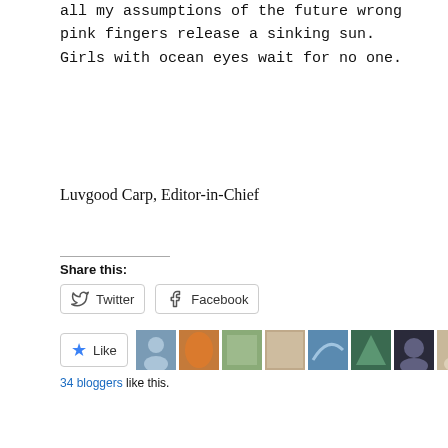all my assumptions of the future wrong
pink fingers release a sinking sun.
Girls with ocean eyes wait for no one.
Luvgood Carp, Editor-in-Chief
Share this:
[Figure (screenshot): Twitter and Facebook share buttons, followed by a Like button with star icon and a row of 10 small avatar thumbnails. Text below reads '34 bloggers like this.']
34 bloggers like this.
luvgoodcarp   June 30, 2022   Uncategorized